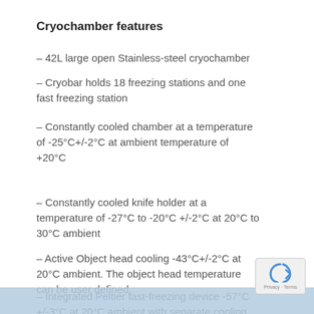Cryochamber features
– 42L large open Stainless-steel cryochamber
– Cryobar holds 18 freezing stations and one fast freezing station
– Constantly cooled chamber at a temperature of -25°C+/-2°C at ambient temperature of +20°C
– Constantly cooled knife holder at a temperature of -27°C to -20°C +/-2°C at 20°C to 30°C ambient
– Active Object head cooling -43°C+/-2°C at 20°C ambient. The object head temperature can be user defined
– Integrated Peltier fast-freezing device -57°C +/-3°C at 20°C ambient with separate cooling element (single position)